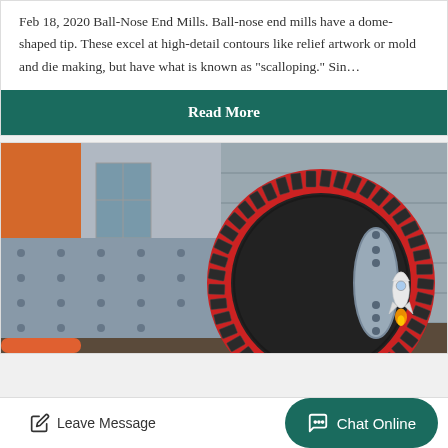Feb 18, 2020 Ball-Nose End Mills. Ball-nose end mills have a dome-shaped tip. These excel at high-detail contours like relief artwork or mold and die making, but have what is known as "scalloping." Sin…
[Figure (other): Read More button — dark teal/green background with white bold text]
[Figure (photo): Photograph of a large industrial ball mill machine with a prominent red-rimmed gear wheel and grey cylindrical drum, photographed outdoors near an orange-painted structure and grey brick wall.]
Leave Message
Chat Online